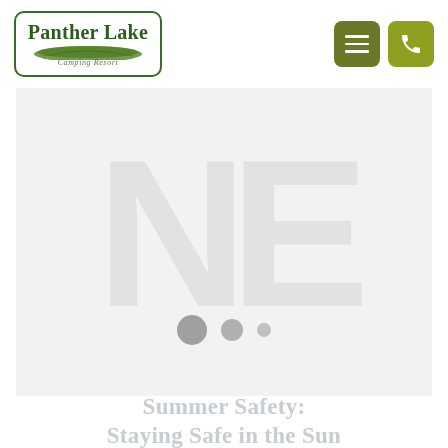[Figure (logo): Panther Lake Camping Resort logo with green border, bold text and leaf graphic]
[Figure (screenshot): Website screenshot showing navigation header with hamburger menu and phone icon buttons, hero image slideshow area with faint NE letters watermark and three slider dots, and page title text below]
Summer Safety: Staying Safe in the Sun